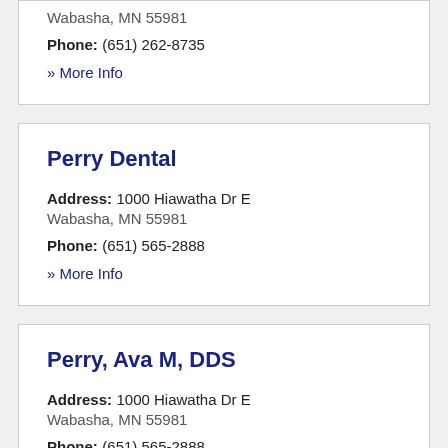Wabasha, MN 55981
Phone: (651) 262-8735
» More Info
Perry Dental
Address: 1000 Hiawatha Dr E
Wabasha, MN 55981
Phone: (651) 565-2888
» More Info
Perry, Ava M, DDS
Address: 1000 Hiawatha Dr E
Wabasha, MN 55981
Phone: (651) 565-2888